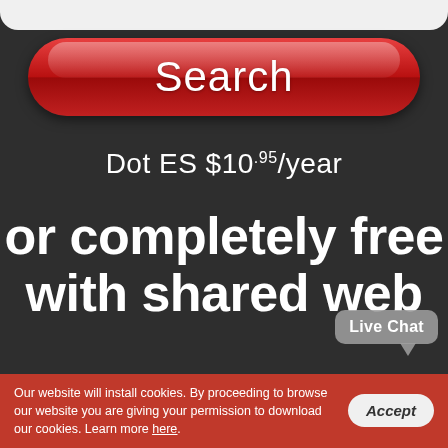[Figure (screenshot): Red rounded Search button with white text and gradient shine effect]
Dot ES $10.95/year
or completely free
with shared web
[Figure (other): Live Chat tooltip bubble overlay in grey]
Our website will install cookies. By proceeding to browse our website you are giving your permission to download our cookies. Learn more here.